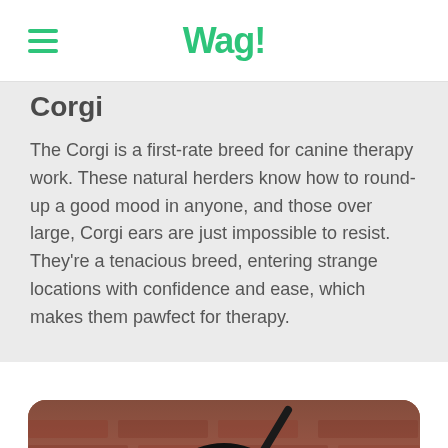Wag!
Corgi
The Corgi is a first-rate breed for canine therapy work. These natural herders know how to round-up a good mood in anyone, and those over large, Corgi ears are just impossible to resist. They're a tenacious breed, entering strange locations with confidence and ease, which makes them pawfect for therapy.
[Figure (photo): A black and tan dog (resembling a Miniature Pinscher or Doberman mix) facing the camera with its tongue out, photographed against a blurred brick wall background.]